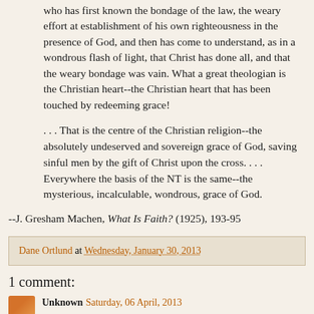who has first known the bondage of the law, the weary effort at establishment of his own righteousness in the presence of God, and then has come to understand, as in a wondrous flash of light, that Christ has done all, and that the weary bondage was vain. What a great theologian is the Christian heart--the Christian heart that has been touched by redeeming grace!
. . . That is the centre of the Christian religion--the absolutely undeserved and sovereign grace of God, saving sinful men by the gift of Christ upon the cross. . . . Everywhere the basis of the NT is the same--the mysterious, incalculable, wondrous, grace of God.
--J. Gresham Machen, What Is Faith? (1925), 193-95
Dane Ortlund at Wednesday, January 30, 2013
1 comment:
Unknown Saturday, 06 April, 2013